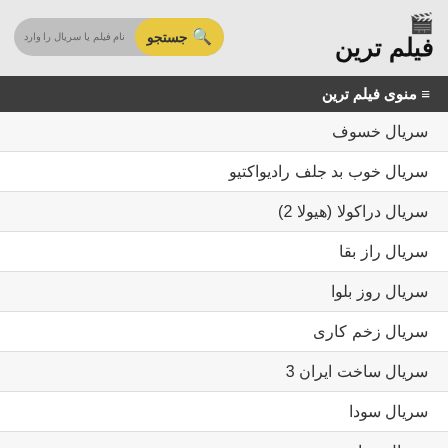[Figure (logo): Filmtarin website logo with clapperboard icon and Persian text فیلم ترین]
[Figure (other): Search bar with yellow search button labeled جستجو and placeholder text نام فیلم یا سریال را وارد]
≡ منوی فیلم ترین
سریال خسوف
سریال خوب بد جلف رادیواکتیو
سریال دراکولا (هیولا 2)
سریال راز بقا
سریال روز بلوا
سریال زخم کاری
سریال ساخت ایران 3
سریال سودا
سریال سیاوش